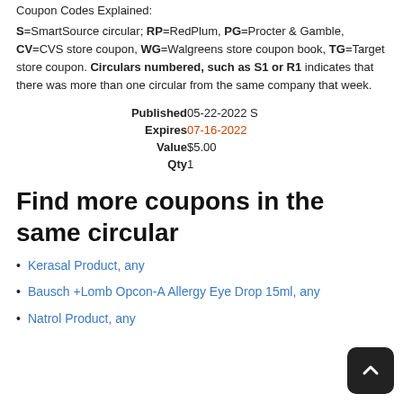Coupon Codes Explained:
S=SmartSource circular; RP=RedPlum, PG=Procter & Gamble, CV=CVS store coupon, WG=Walgreens store coupon book, TG=Target store coupon. Circulars numbered, such as S1 or R1 indicates that there was more than one circular from the same company that week.
| Label | Value |
| --- | --- |
| Published | 05-22-2022 S |
| Expires | 07-16-2022 |
| Value | $5.00 |
| Qty | 1 |
Find more coupons in the same circular
Kerasal Product, any
Bausch +Lomb Opcon-A Allergy Eye Drop 15ml, any
Natrol Product, any